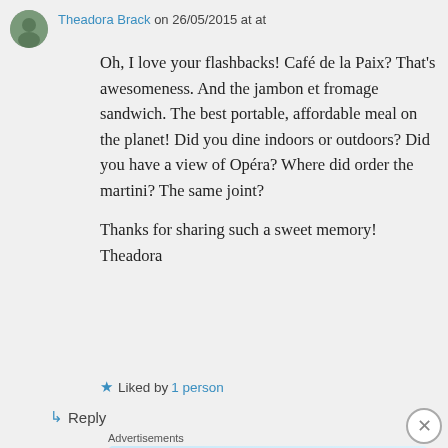Theadora Brack on 26/05/2015 at at
Oh, I love your flashbacks! Café de la Paix? That's awesomeness. And the jambon et fromage sandwich. The best portable, affordable meal on the planet! Did you dine indoors or outdoors? Did you have a view of Opéra? Where did order the martini? The same joint?

Thanks for sharing such a sweet memory!
Theadora
★ Liked by 1 person
↳ Reply
Advertisements
[Figure (infographic): Tumblr Ad-Free Browsing advertisement banner showing $39.99 a year or $4.99 a month]